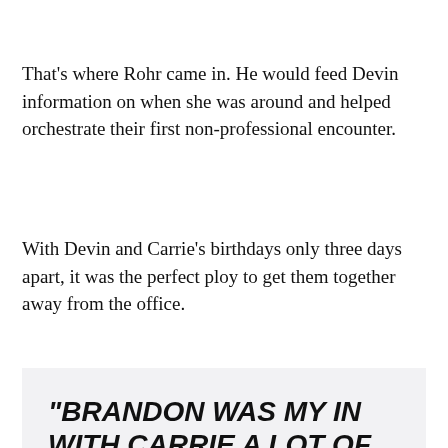That's where Rohr came in. He would feed Devin information on when she was around and helped orchestrate their first non-professional encounter.
With Devin and Carrie's birthdays only three days apart, it was the perfect ploy to get them together away from the office.
"BRANDON WAS MY IN WITH CARRIE A LOT OF TIMES," DEVIN EXPLAINED. "HE WAS [THE ONE WHO GOT HER TO COME OUT TO THE SO-CALLED
[Figure (other): Share button overlay with share icon and count '6' on dark background]